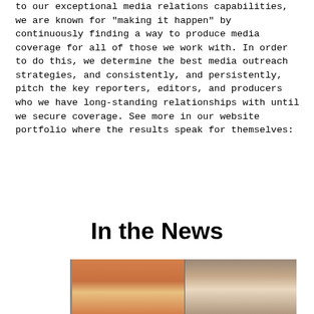to our exceptional media relations capabilities, we are known for "making it happen" by continuously finding a way to produce media coverage for all of those we work with. In order to do this, we determine the best media outreach strategies, and consistently, and persistently, pitch the key reporters, editors, and producers who we have long-standing relationships with until we secure coverage. See more in our website portfolio where the results speak for themselves:
In the News
[Figure (photo): Photo showing two people — a woman with reddish-brown hair on the left and a man on the right — appearing to be in a news interview or broadcast setting.]